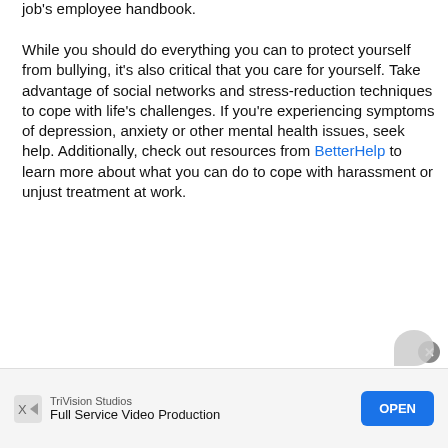job's employee handbook.
While you should do everything you can to protect yourself from bullying, it's also critical that you care for yourself. Take advantage of social networks and stress-reduction techniques to cope with life's challenges. If you're experiencing symptoms of depression, anxiety or other mental health issues, seek help. Additionally, check out resources from BetterHelp to learn more about what you can do to cope with harassment or unjust treatment at work.
[Figure (screenshot): Advertisement banner for TriVision Studios - Full Service Video Production with an OPEN button]